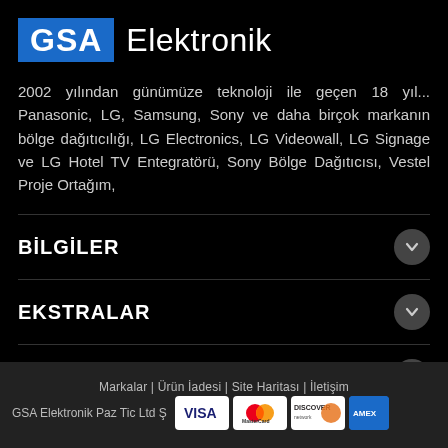GSA Elektronik
2002 yılından günümüze teknoloji ile geçen 18 yıl... Panasonic, LG, Samsung, Sony ve daha birçok markanın bölge dağıtıcılığı, LG Electronics, LG Videowall, LG Signage ve LG Hotel TV Entegratörü, Sony Bölge Dağıtıcısı, Vestel Proje Ortağım,
BİLGİLER
EKSTRALAR
BİZE ULAŞIN
Markalar | Ürün İadesi | Site Haritası | İletişim
GSA Elektronik Paz Tic Ltd Ş